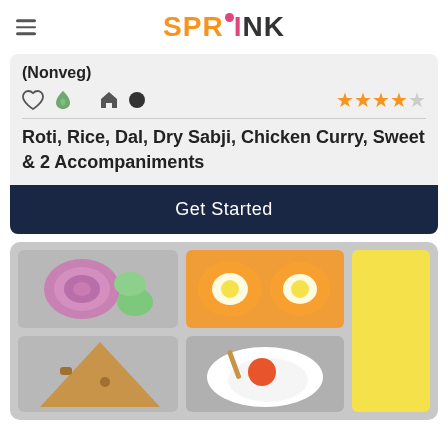SPRINK logo with hamburger menu
(Nonveg)
Roti, Rice, Dal, Dry Sabji, Chicken Curry, Sweet & 2 Accompaniments
Get Started
[Figure (illustration): Food tray illustration showing compartments with onion rings, cucumber slices, eggs, bread/roti, fried egg, and yellow rice/sweet]